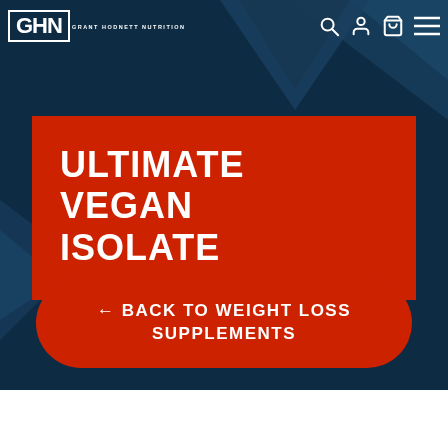[Figure (logo): GHN Grant Hodnett Nutrition logo in white on dark navy background]
ULTIMATE VEGAN ISOLATE
← BACK TO WEIGHT LOSS SUPPLEMENTS